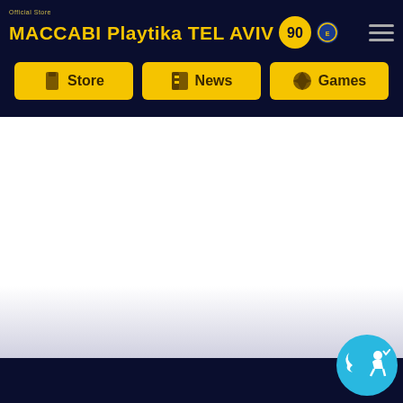Official Store MACCABI Playtika TEL AVIV
Store
News
Games
[Figure (screenshot): White/light gray main content area, empty]
Footer bar with accessibility button